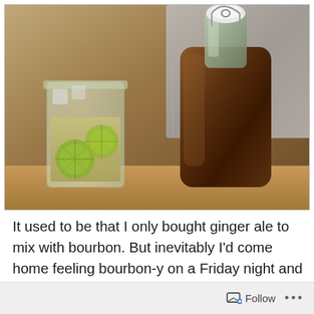[Figure (photo): A glass swing-top bottle filled with dark brown liquid (ginger ale or similar drink) and a mason jar glass with a yellowish drink garnished with lime slices, both sitting on a wooden table surface with a cloth/napkin in the background.]
It used to be that I only bought ginger ale to mix with bourbon. But inevitably I'd come home feeling bourbon-y on a Friday night and open the fridge to discover that Chris had drunk all the ginger ale. By itself. Leaving me to
Follow ···